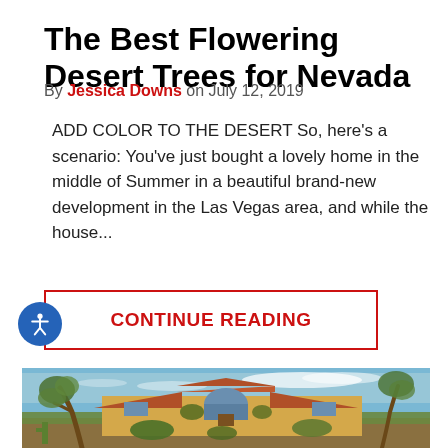The Best Flowering Desert Trees for Nevada
By Jessica Downs on July 12, 2019
ADD COLOR TO THE DESERT So, here's a scenario: You've just bought a lovely home in the middle of Summer in a beautiful brand-new development in the Las Vegas area, and while the house...
CONTINUE READING
[Figure (photo): Photograph of a desert home with a terracotta tile roof, yellow stucco walls, large arched window entrance, surrounded by desert trees including a large twisted tree and various desert plants under a blue sky with wispy clouds.]